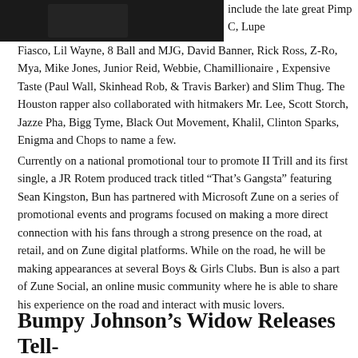[Figure (photo): Dark image, partially visible at top left corner of the page]
include the late great Pimp C, Lupe Fiasco, Lil Wayne, 8 Ball and MJG, David Banner, Rick Ross, Z-Ro, Mya, Mike Jones, Junior Reid, Webbie, Chamillionaire , Expensive Taste (Paul Wall, Skinhead Rob, & Travis Barker) and Slim Thug. The Houston rapper also collaborated with hitmakers Mr. Lee, Scott Storch, Jazze Pha, Bigg Tyme, Black Out Movement, Khalil, Clinton Sparks, Enigma and Chops to name a few.
Currently on a national promotional tour to promote II Trill and its first single, a JR Rotem produced track titled “That’s Gangsta” featuring Sean Kingston, Bun has partnered with Microsoft Zune on a series of promotional events and programs focused on making a more direct connection with his fans through a strong presence on the road, at retail, and on Zune digital platforms. While on the road, he will be making appearances at several Boys & Girls Clubs. Bun is also a part of Zune Social, an online music community where he is able to share his experience on the road and interact with music lovers.
Bumpy Johnson’s Widow Releases Tell-